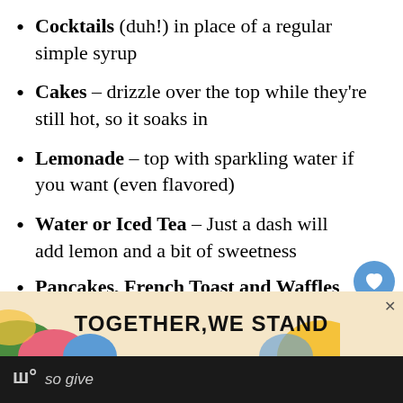Cocktails (duh!) in place of a regular simple syrup
Cakes – drizzle over the top while they're still hot, so it soaks in
Lemonade – top with sparkling water if you want (even flavored)
Water or Iced Tea – Just a dash will add lemon and a bit of sweetness
Pancakes, French Toast and Waffles – drizzle over the top for a delightful
Hot Tea – perfect for winter sipping
[Figure (infographic): Social media sidebar widget with heart/like button showing count 471, and share button]
[Figure (infographic): What's Next widget showing Hibiscus Simple Syrup with thumbnail image]
[Figure (infographic): Advertisement banner reading TOGETHER WE STAND with colorful shapes and close button]
so give